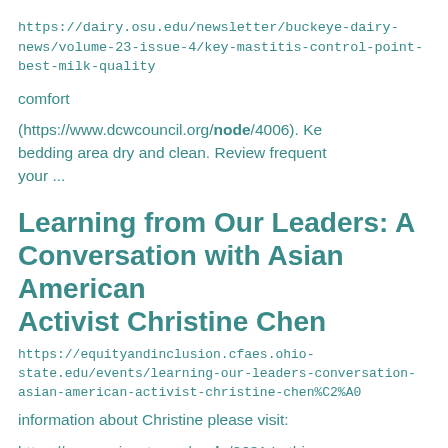https://dairy.osu.edu/newsletter/buckeye-dairy-news/volume-23-issue-4/key-mastitis-control-point-best-milk-quality
comfort
(https://www.dcwcouncil.org/node/4006). Ke bedding area dry and clean. Review frequent your ...
Learning from Our Leaders: A Conversation with Asian American Activist Christine Chen
https://equityandinclusion.cfaes.ohio-state.edu/events/learning-our-leaders-conversation-asian-american-activist-christine-chen%C2%A0
information about Christine please visit:
https://www.apiavote.org/node/2631 In this